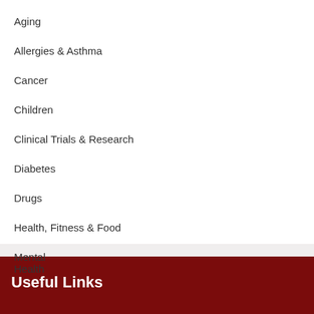Aging
Allergies & Asthma
Cancer
Children
Clinical Trials & Research
Diabetes
Drugs
Health, Fitness & Food
Mental Health
Useful Links